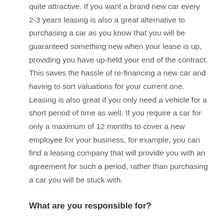quite attractive. If you want a brand new car every 2-3 years leasing is also a great alternative to purchasing a car as you know that you will be guaranteed something new when your lease is up, providing you have up-held your end of the contract. This saves the hassle of re-financing a new car and having to sort valuations for your current one.
Leasing is also great if you only need a vehicle for a short period of time as well. If you require a car for only a maximum of 12 months to cover a new employee for your business, for example, you can find a leasing company that will provide you with an agreement for such a period, rather than purchasing a car you will be stuck with.
What are you responsible for?